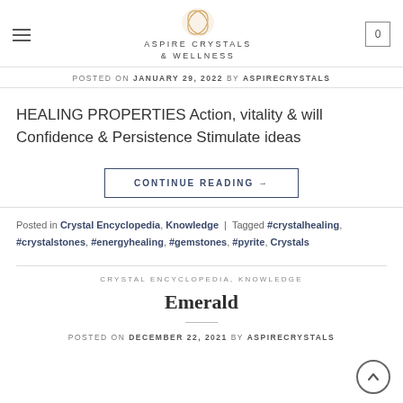ASPIRE CRYSTALS & WELLNESS
POSTED ON JANUARY 29, 2022 BY ASPIRECRYSTALS
HEALING PROPERTIES Action, vitality & will Confidence & Persistence Stimulate ideas
CONTINUE READING →
Posted in Crystal Encyclopedia, Knowledge | Tagged #crystalhealing, #crystalstones, #energyhealing, #gemstones, #pyrite, Crystals
CRYSTAL ENCYCLOPEDIA, KNOWLEDGE
Emerald
POSTED ON DECEMBER 22, 2021 BY ASPIRECRYSTALS